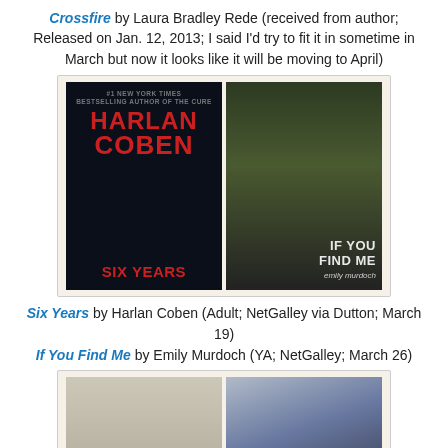Crossfire by Laura Bradley Rede (received from author; Released on Jan. 12, 2013; I said I'd try to fit it in sometime in March but now it looks like it will be moving to April)
[Figure (photo): Two book covers side by side: 'Six Years' by Harlan Coben (dark cover with red text) and 'If You Find Me' by Emily Murdoch (forest/girl cover)]
Six Years by Harlan Coben (Adult; NetGalley via Dutton; March 19)
If You Find Me by Emily Murdoch (YA; NetGalley; March 26)
[Figure (photo): Two book covers side by side: 'The Ashford Affair' and 'The Sweetest']